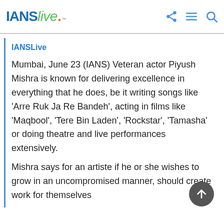IANS live
IANSLive
Mumbai, June 23 (IANS) Veteran actor Piyush Mishra is known for delivering excellence in everything that he does, be it writing songs like 'Arre Ruk Ja Re Bandeh', acting in films like 'Maqbool', 'Tere Bin Laden', 'Rockstar', 'Tamasha' or doing theatre and live performances extensively.
Mishra says for an artiste if he or she wishes to grow in an uncompromised manner, should create work for themselves